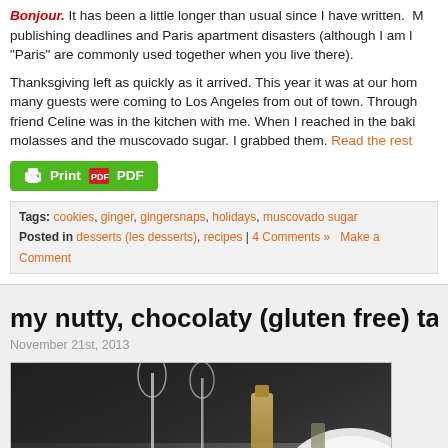Bonjour. It has been a little longer than usual since I have written. publishing deadlines and Paris apartment disasters (although I am learning that 'disasters' and 'Paris' are commonly used together when you live there).
Thanksgiving left as quickly as it arrived. This year it was at our home and many guests were coming to Los Angeles from out of town. Through friend Celine was in the kitchen with me. When I reached in the baking cabinet molasses and the muscovado sugar. I grabbed them. Read the rest
[Figure (other): Green Print and PDF button]
Tags: cookies, ginger, gingersnaps, holidays, muscovado sugar
Posted in desserts (les desserts), recipes | 4 Comments »  Make a Comment
my nutty, chocolaty (gluten free) tart w
November 21st, 2013
[Figure (photo): Food photo showing a tart with glasses and bottles in the background on a dark background]